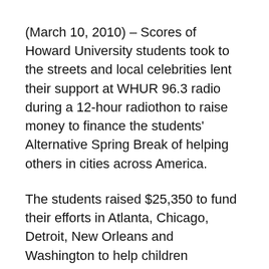(March 10, 2010) – Scores of Howard University students took to the streets and local celebrities lent their support at WHUR 96.3 radio during a 12-hour radiothon to raise money to finance the students' Alternative Spring Break of helping others in cities across America.
The students raised $25,350 to fund their efforts in Atlanta, Chicago, Detroit, New Orleans and Washington to help children struggling with gangs and gun violence, adults and teens who don't know how to read and a city still trying to recover from a hurricane.
Beginning at 6 a.m. on March 7, students lined Georgia Avenue and Bryant Street and Bryant